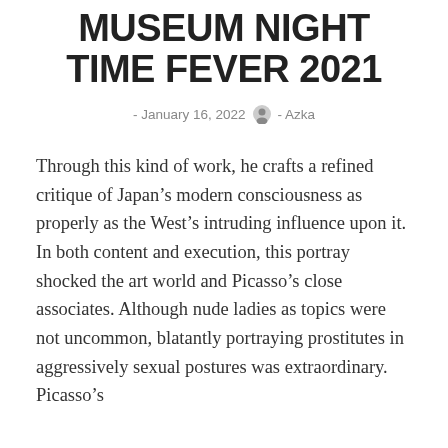MUSEUM NIGHT TIME FEVER 2021
- January 16, 2022  - Azka
Through this kind of work, he crafts a refined critique of Japan’s modern consciousness as properly as the West’s intruding influence upon it. In both content and execution, this portray shocked the art world and Picasso’s close associates. Although nude ladies as topics were not uncommon, blatantly portraying prostitutes in aggressively sexual postures was extraordinary. Picasso’s